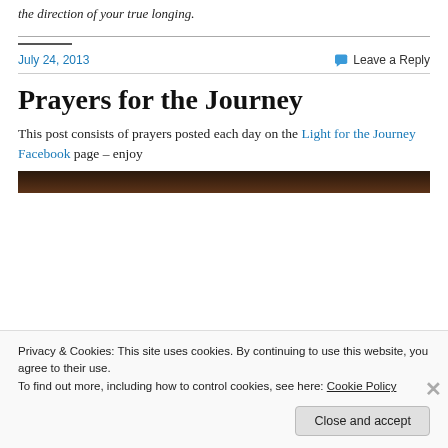the direction of your true longing.
July 24, 2013
Leave a Reply
Prayers for the Journey
This post consists of prayers posted each day on the Light for the Journey Facebook page – enjoy
[Figure (photo): Dark brown/orange photograph strip, partially visible at top of cookie banner area]
Privacy & Cookies: This site uses cookies. By continuing to use this website, you agree to their use.
To find out more, including how to control cookies, see here: Cookie Policy
Close and accept